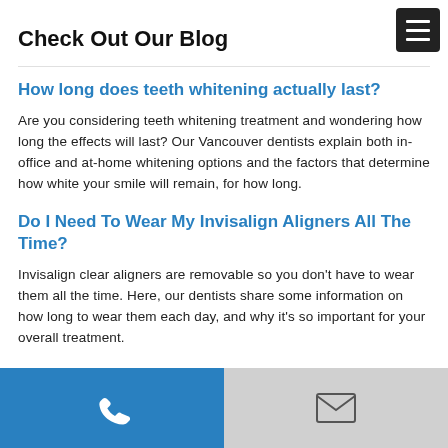Check Out Our Blog
How long does teeth whitening actually last?
Are you considering teeth whitening treatment and wondering how long the effects will last? Our Vancouver dentists explain both in-office and at-home whitening options and the factors that determine how white your smile will remain, for how long.
Do I Need To Wear My Invisalign Aligners All The Time?
Invisalign clear aligners are removable so you don't have to wear them all the time. Here, our dentists share some information on how long to wear them each day, and why it's so important for your overall treatment.
Phone | Email